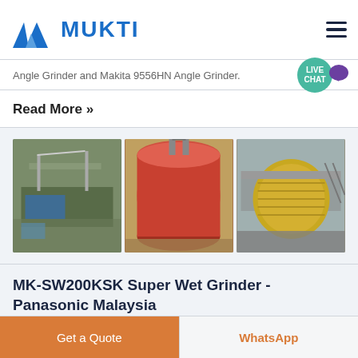[Figure (logo): Mukti company logo with blue triangle/arrow icon and bold blue MUKTI text]
Angle Grinder and Makita 9556HN Angle Grinder.
Read More »
[Figure (photo): Three industrial machinery photos: vibrating screen/plant equipment on left, large red cylindrical rotary drum in center, yellow ball mill on right]
MK-SW200KSK Super Wet Grinder - Panasonic Malaysia
Get a Quote
WhatsApp